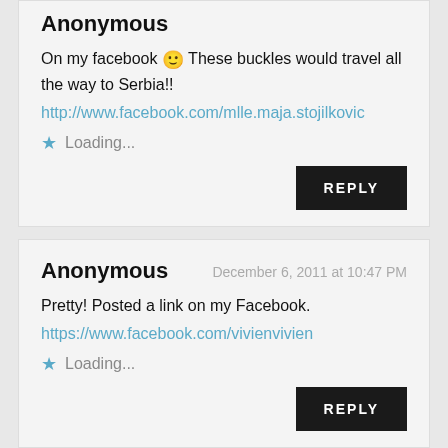Anonymous
On my facebook 🙂 These buckles would travel all the way to Serbia!!
http://www.facebook.com/mlle.maja.stojilkovic
★ Loading...
REPLY
Anonymous
December 6, 2011 at 10:47 PM
Pretty! Posted a link on my Facebook.
https://www.facebook.com/vivienvivien
★ Loading...
REPLY